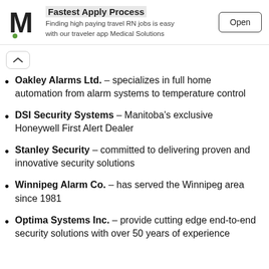[Figure (other): Ad banner: Medical Solutions app logo (M with green dot), title 'Fastest Apply Process', subtitle 'Finding high paying travel RN jobs is easy with our traveler app Medical Solutions', and an 'Open' button]
Oakley Alarms Ltd. – specializes in full home automation from alarm systems to temperature control
DSI Security Systems – Manitoba's exclusive Honeywell First Alert Dealer
Stanley Security – committed to delivering proven and innovative security solutions
Winnipeg Alarm Co. – has served the Winnipeg area since 1981
Optima Systems Inc. – provide cutting edge end-to-end security solutions with over 50 years of experience